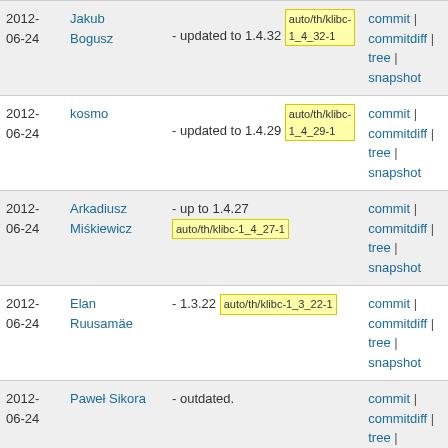| Date | Author | Message | Links |
| --- | --- | --- | --- |
| 2012-06-24 | Jakub Bogusz | - updated to 1.4.32  auto/th/klibc-1_4_32-1 | commit | commitdiff | tree | snapshot |
| 2012-06-24 | kosmo | - updated to 1.4.29  auto/th/klibc-1_4_29-1 | commit | commitdiff | tree | snapshot |
| 2012-06-24 | Arkadiusz Miśkiewicz | - up to 1.4.27  auto/th/klibc-1_4_27-1 | commit | commitdiff | tree | snapshot |
| 2012-06-24 | Elan Ruusamäe | - 1.3.22  auto/th/klibc-1_3_22-1 | commit | commitdiff | tree | snapshot |
| 2012-06-24 | Paweł Sikora | - outdated. | commit | commitdiff | tree | snapshot |
| 2012- | Paweł Sikora | - updated for 1.3.21. | commit | |